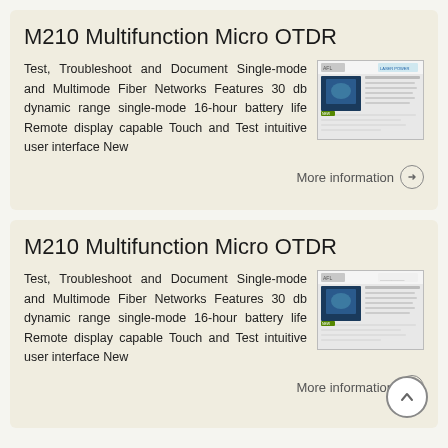M210 Multifunction Micro OTDR
Test, Troubleshoot and Document Single-mode and Multimode Fiber Networks Features 30 db dynamic range single-mode 16-hour battery life Remote display capable Touch and Test intuitive user interface New
[Figure (screenshot): Thumbnail image of a document page showing AFL logo and product datasheet for M210 OTDR]
More information →
M210 Multifunction Micro OTDR
Test, Troubleshoot and Document Single-mode and Multimode Fiber Networks Features 30 db dynamic range single-mode 16-hour battery life Remote display capable Touch and Test intuitive user interface New
[Figure (screenshot): Thumbnail image of a document page showing AFL logo and product datasheet for M210 OTDR]
More information →